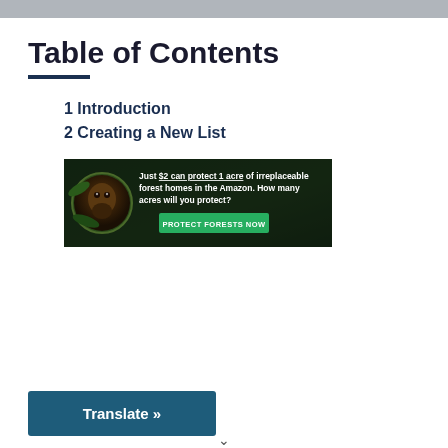Table of Contents
1 Introduction
2 Creating a New List
[Figure (infographic): Advertisement banner for Amazon forest protection. Text reads: 'Just $2 can protect 1 acre of irreplaceable forest homes in the Amazon. How many acres will you protect?' with a green 'PROTECT FORESTS NOW' button. Features an image of a monkey on the left side against a dark forest background.]
Translate »